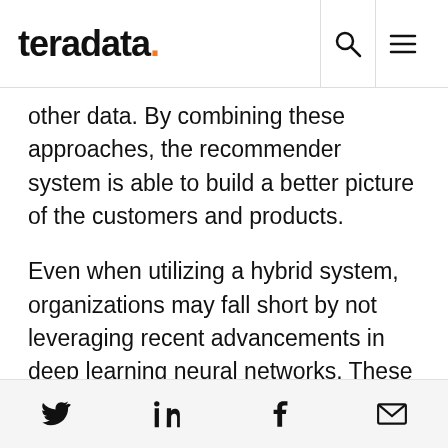teradata.
other data. By combining these approaches, the recommender system is able to build a better picture of the customers and products.
Even when utilizing a hybrid system, organizations may fall short by not leveraging recent advancements in deep learning neural networks. These hybrid systems do not consider the images or text associated with a recommendation, and are thus ignoring a large amount of data when a recommendation is made.
Social share icons: Twitter, LinkedIn, Facebook, Email